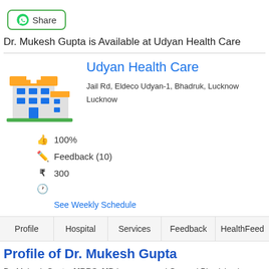Share
Dr. Mukesh Gupta is Available at Udyan Health Care
[Figure (illustration): Cartoon illustration of a hospital building with blue windows, orange roof, and a green base]
Udyan Health Care
Jail Rd, Eldeco Udyan-1, Bhadruk, Lucknow
Lucknow
100%
Feedback (10)
300
See Weekly Schedule
Profile  Hospital  Services  Feedback  HealthFeed
Profile of Dr. Mukesh Gupta
Dr. Mukesh Gupta, MBBS, MD is a renowned General Physician in